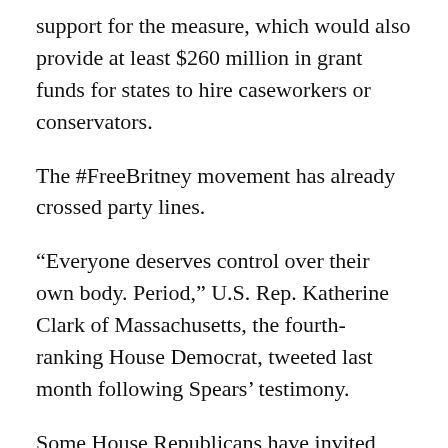support for the measure, which would also provide at least $260 million in grant funds for states to hire caseworkers or conservators.
The #FreeBritney movement has already crossed party lines.
“Everyone deserves control over their own body. Period,” U.S. Rep. Katherine Clark of Massachusetts, the fourth-ranking House Democrat, tweeted last month following Spears’ testimony.
Some House Republicans have invited Spears to testify before Congress. The political arm of the House Republican caucus sent texts that described Ms. Spears as “a victim of toxic gov’t overreach & censorship.”
Earlier this month, Florida Republican U.S. Rep. Matt Gaetz, a close ally of former President Donald Trump,